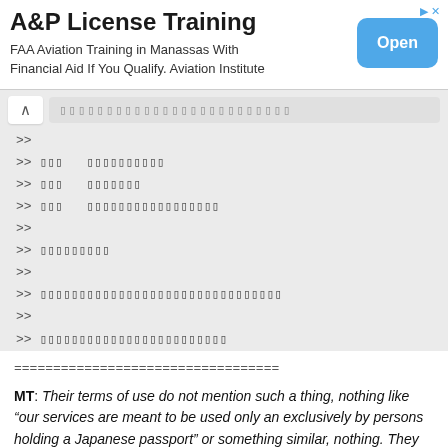[Figure (infographic): Advertisement banner for A&P License Training. Title: 'A&P License Training'. Subtitle: 'FAA Aviation Training in Manassas With Financial Aid If You Qualify. Aviation Institute'. Blue 'Open' button on the right. Ad icon (arrow) in top right.]
>> [Japanese characters]
>> [Japanese] [Japanese]
>> [Japanese] [Japanese]
>> [Japanese] [Japanese]
>>
>> [Japanese]
>>
>> [Japanese]
>>
>> [Japanese]
==================================
MT: Their terms of use do not mention such a thing, nothing like “our services are meant to be used only an exclusively by persons holding a Japanese passport” or something similar, nothing. They just kick out those who has a western name, base on the NAME itself.